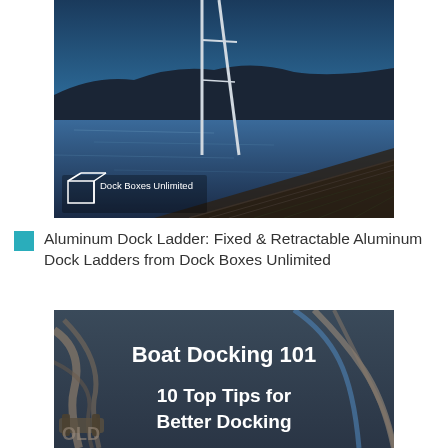[Figure (photo): Photo of a dock at dusk/twilight with calm water and hills in the background. A ladder/railing is visible on the left. Dock Boxes Unlimited logo in the lower left corner of the image.]
Aluminum Dock Ladder: Fixed & Retractable Aluminum Dock Ladders from Dock Boxes Unlimited
[Figure (photo): Photo of boat ropes/cleats on a dock with text overlay reading 'Boat Docking 101' and '10 Top Tips for Better Docking']